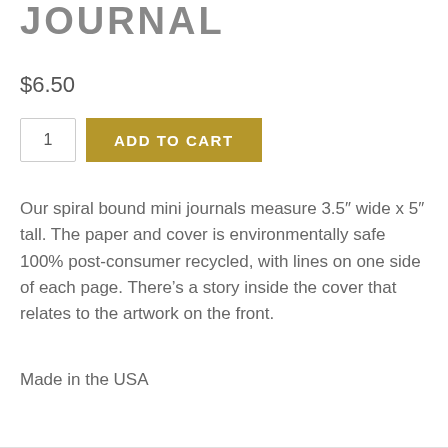JOURNAL
$6.50
1  ADD TO CART
Our spiral bound mini journals measure 3.5″ wide x 5″ tall. The paper and cover is environmentally safe 100% post-consumer recycled, with lines on one side of each page. There’s a story inside the cover that relates to the artwork on the front.
Made in the USA